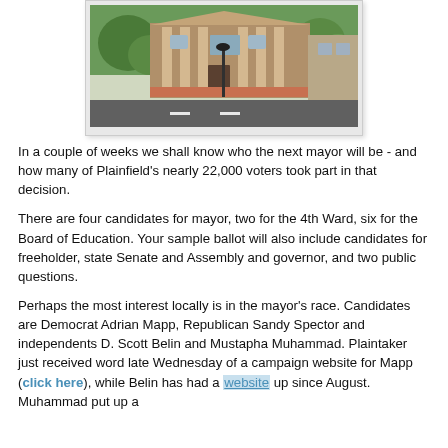[Figure (photo): Photograph of a brick building with columns, likely a government or civic building in Plainfield, with trees and a street lamp in front.]
In a couple of weeks we shall know who the next mayor will be - and how many of Plainfield's nearly 22,000 voters took part in that decision.
There are four candidates for mayor, two for the 4th Ward, six for the Board of Education. Your sample ballot will also include candidates for freeholder, state Senate and Assembly and governor, and two public questions.
Perhaps the most interest locally is in the mayor's race. Candidates are Democrat Adrian Mapp, Republican Sandy Spector and independents D. Scott Belin and Mustapha Muhammad. Plaintaker just received word late Wednesday of a campaign website for Mapp (click here), while Belin has had a website up since August. Muhammad put up a